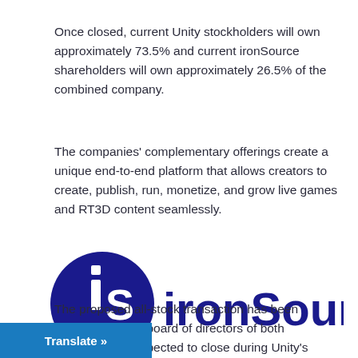Once closed, current Unity stockholders will own approximately 73.5% and current ironSource shareholders will own approximately 26.5% of the combined company.
The companies' complementary offerings create a unique end-to-end platform that allows creators to create, publish, run, monetize, and grow live games and RT3D content seamlessly.
[Figure (logo): ironSource company logo: a dark navy blue circle with 'iS' symbol in white on the left, and the word 'ironSource' in large bold dark navy blue text on the right.]
The proposed all-stock transaction has been approved by the board of directors of both companies, is expected to close during Unity's fourth quarter of 2022